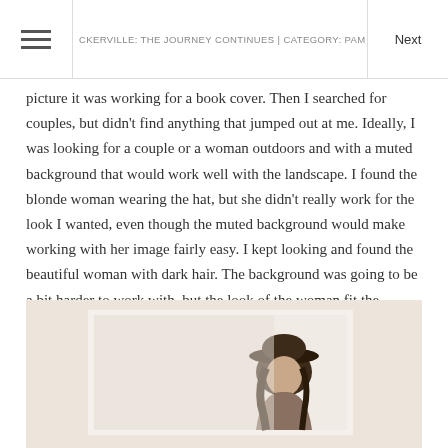CKERVILLE: THE JOURNEY CONTINUES | CATEGORY: PAM HILLM
picture it was working for a book cover. Then I searched for couples, but didn't find anything that jumped out at me. Ideally, I was looking for a couple or a woman outdoors and with a muted background that would work well with the landscape. I found the blonde woman wearing the hat, but she didn't really work for the look I wanted, even though the muted background would make working with her image fairly easy. I kept looking and found the beautiful woman with dark hair. The background was going to be a bit harder to work with, but the look of the woman fit the Tuscany landscape SO much better, and I was excited to work on the project.
[Figure (photo): A photo showing a woman with dark hair wearing a hat, partially visible at the bottom of the page against a light/beige background, appears to be a book cover composite image in progress.]